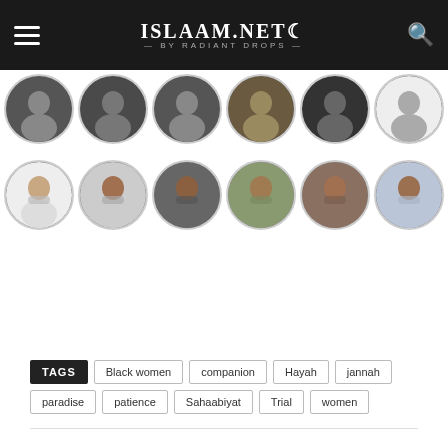ISLAAM.NET — BY RADIANT DROPS
[Figure (photo): Grid of circular avatar photos showing bearded men, arranged in two visible rows of 6 avatars each]
TAGS  Black women  companion  Hayah  jannah  paradise  patience  Sahaabiyat  Trial  women